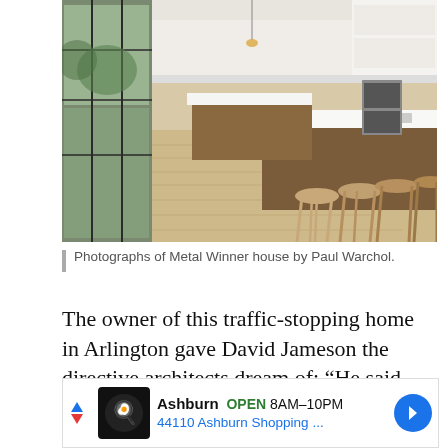[Figure (photo): Interior photograph of a modern open-plan kitchen with a large white island, wooden bar stools, floor-to-ceiling steel-framed windows, and double-height ceiling with upper level visible]
Photographs of Metal Winner house by Paul Warchol.
The owner of this traffic-stopping home in Arlington gave David Jameson the directive architects dream of: “He said, ‘You know, I just want you to build an interesting house.’”
Jameson obliged, starting from the outside
[Figure (screenshot): Advertisement banner for Ashburn restaurant: OPEN 8AM-10PM, 44110 Ashburn Shopping ...]